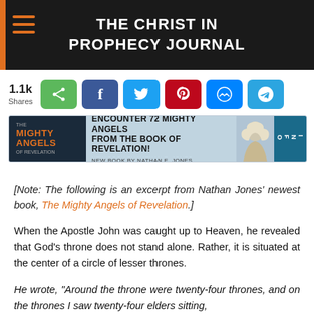THE CHRIST IN PROPHECY JOURNAL
[Figure (infographic): Social share bar with 1.1k Shares count and buttons: share (green), Facebook (blue), Twitter (light blue), Pinterest (red), Messenger (blue), Telegram (cyan-blue)]
[Figure (infographic): Advertisement banner for 'Mighty Angels' book: ENCOUNTER 72 MIGHTY ANGELS FROM THE BOOK OF REVELATION! NEW BOOK BY NATHAN E. JONES]
[Note: The following is an excerpt from Nathan Jones' newest book, The Mighty Angels of Revelation.]
When the Apostle John was caught up to Heaven, he revealed that God’s throne does not stand alone. Rather, it is situated at the center of a circle of lesser thrones.
He wrote, “Around the throne were twenty-four thrones, and on the thrones I saw twenty-four elders sitting,